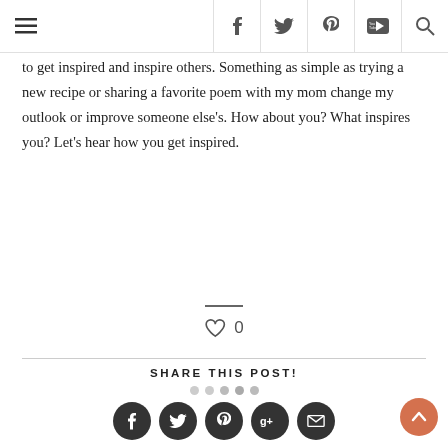Navigation bar with hamburger menu, Facebook, Twitter, Pinterest, YouTube, Search icons
to get inspired and inspire others. Something as simple as trying a new recipe or sharing a favorite poem with my mom change my outlook or improve someone else's. How about you? What inspires you? Let's hear how you get inspired.
[Figure (other): Heart/like icon with count 0]
SHARE THIS POST!
[Figure (other): Five social share buttons (Facebook, Twitter, Pinterest, Google+, Email) as dark circular icons, plus a back-to-top orange button]